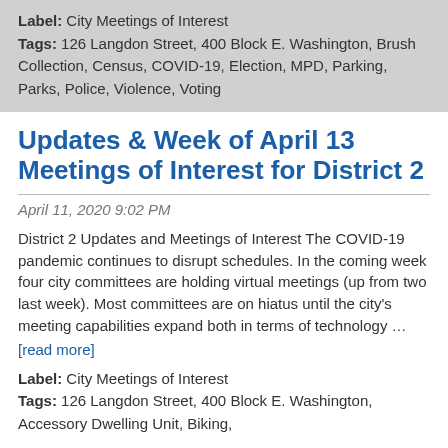Label: City Meetings of Interest
Tags: 126 Langdon Street, 400 Block E. Washington, Brush Collection, Census, COVID-19, Election, MPD, Parking, Parks, Police, Violence, Voting
Updates & Week of April 13 Meetings of Interest for District 2
April 11, 2020 9:02 PM
District 2 Updates and Meetings of Interest The COVID-19 pandemic continues to disrupt schedules. In the coming week four city committees are holding virtual meetings (up from two last week). Most committees are on hiatus until the city's meeting capabilities expand both in terms of technology …
[read more]
Label: City Meetings of Interest
Tags: 126 Langdon Street, 400 Block E. Washington, Accessory Dwelling Unit, Biking,